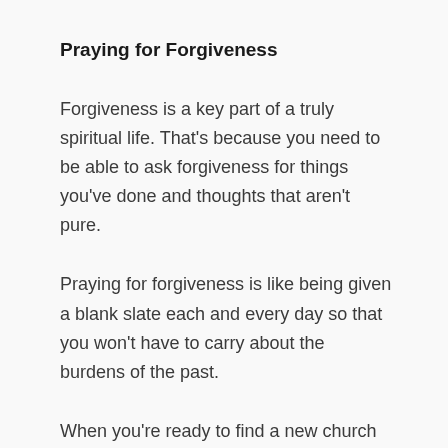Praying for Forgiveness
Forgiveness is a key part of a truly spiritual life. That's because you need to be able to ask forgiveness for things you've done and thoughts that aren't pure.
Praying for forgiveness is like being given a blank slate each and every day so that you won't have to carry about the burdens of the past.
When you're ready to find a new church